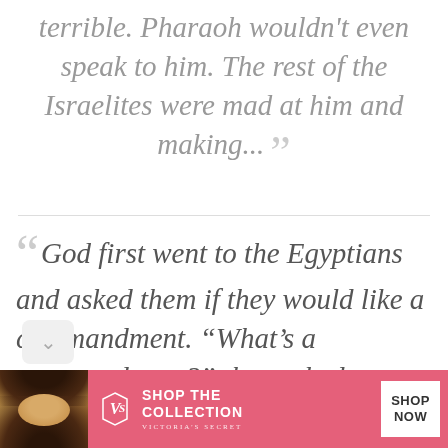terrible. Pharaoh wouldn't even speak to him. The rest of the Israelites were mad at him and making... ”
“ God first went to the Egyptians and asked them if they would like a commandment. "What's a commandment?" they asked. "Well, it's like, THOU SHALL NOT ”
[Figure (other): Victoria's Secret advertisement banner with a woman model, VS logo, text 'SHOP THE COLLECTION', and 'SHOP NOW' button]